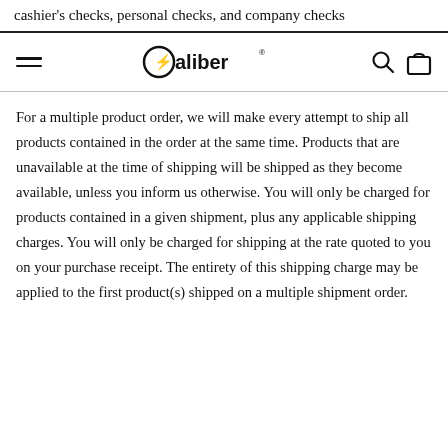cashier's checks, personal checks, and company checks
[Figure (logo): Caliber brand logo with hamburger menu, search icon, and shopping bag icon in a navigation bar]
For a multiple product order, we will make every attempt to ship all products contained in the order at the same time. Products that are unavailable at the time of shipping will be shipped as they become available, unless you inform us otherwise. You will only be charged for products contained in a given shipment, plus any applicable shipping charges. You will only be charged for shipping at the rate quoted to you on your purchase receipt. The entirety of this shipping charge may be applied to the first product(s) shipped on a multiple shipment order.